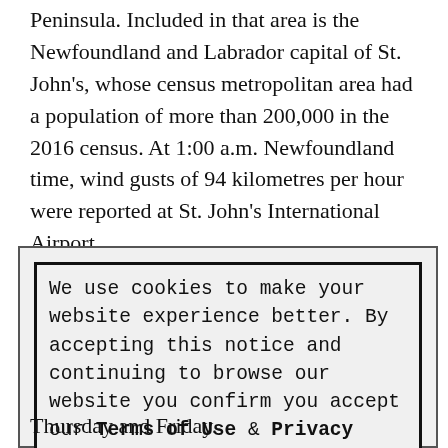Peninsula. Included in that area is the Newfoundland and Labrador capital of St. John's, whose census metropolitan area had a population of more than 200,000 in the 2016 census. At 1:00 a.m. Newfoundland time, wind gusts of 94 kilometres per hour were reported at St. John's International Airport.
In addition to high winds, the storm was also expected to bring heavy rain and dangerous storm surge, as forecast by the United States National Hurricane Center and Environment Canada.
We use cookies to make your website experience better. By accepting this notice and continuing to browse our website you confirm you accept our Terms of Use & Privacy Policy.

read more >>

I Accept
Thursday and Friday.